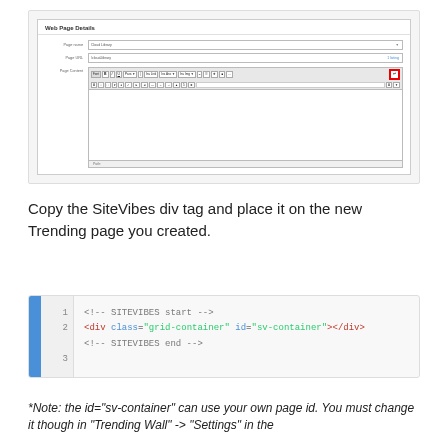[Figure (screenshot): Web Page Details form showing Page name field (Cloud Library), Page URL field (/cloud-library), and Page Content field with a rich text editor toolbar. A red-bordered button is visible in the top-right of the toolbar.]
Copy the SiteVibes div tag and place it on the new Trending page you created.
[Figure (screenshot): Code block with blue left gutter and line numbers 1, 2, 3 showing: line 1: <!-- SITEVIBES start -->, line 2: <div class="grid-container" id="sv-container"></div>, line 3: <!-- SITEVIBES end -->]
*Note: the id="sv-container" can use your own page id.  You must change it though in "Trending Wall" -> "Settings" in the